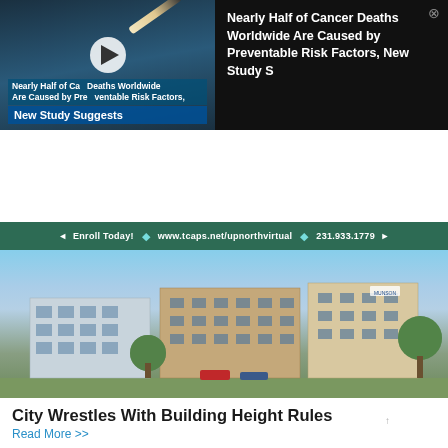[Figure (screenshot): Video thumbnail for news story about cancer deaths and preventable risk factors, showing a cigarette with play button overlay and text 'Nearly Half of Cancer Deaths Worldwide Are Caused by Preventable Risk Factors, New Study Suggests']
Nearly Half of Cancer Deaths Worldwide Are Caused by Preventable Risk Factors, New Study S
[Figure (photo): Advertisement for TCAPS Up North Virtual school showing a child studying with headphones, with text about serving the Five-County Region, curriculum aligning with state standards, local connections and enrichment opportunities, and enrollment information]
Serving the Five-County Region
Curriculum Aligns with State Standards
Local Connections & Enrichment Opportunities
◄  Enroll Today!  ◆  www.tcaps.net/upnorthvirtual  ◆  231.933.1779  ►
[Figure (photo): Architectural rendering of a modern multi-story commercial or medical building complex with glass facades and landscaped grounds]
City Wrestles With Building Height Rules
Read More >>